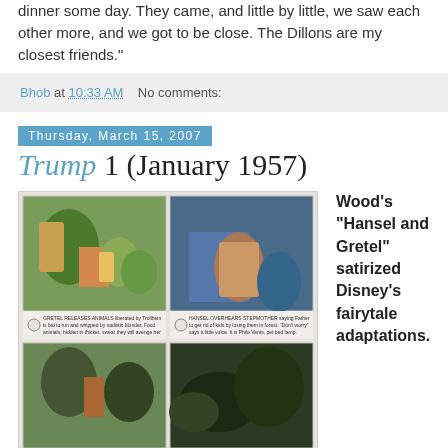dinner some day. They came, and little by little, we saw each other more, and we got to be close. The Dillons are my closest friends."
Bhob at 10:33 AM   No comments:
Thursday, March 15, 2007
Trump 1 (January 1957)
[Figure (illustration): Four-panel comic page from Wood's Hansel and Gretel parody satirizing Disney's fairytale adaptations, with captions under each panel]
Wood's "Hansel and Gretel" satirized Disney's fairytale adaptations.